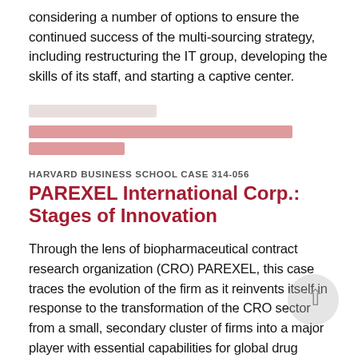considering a number of options to ensure the continued success of the multi-sourcing strategy, including restructuring the IT group, developing the skills of its staff, and starting a captive center.
[redacted content]
HARVARD BUSINESS SCHOOL CASE 314-056
PAREXEL International Corp.: Stages of Innovation
Through the lens of biopharmaceutical contract research organization (CRO) PAREXEL, this case traces the evolution of the firm as it reinvents itself in response to the transformation of the CRO sector from a small, secondary cluster of firms into a major player with essential capabilities for global drug development. The case describes PAREXEL's growing